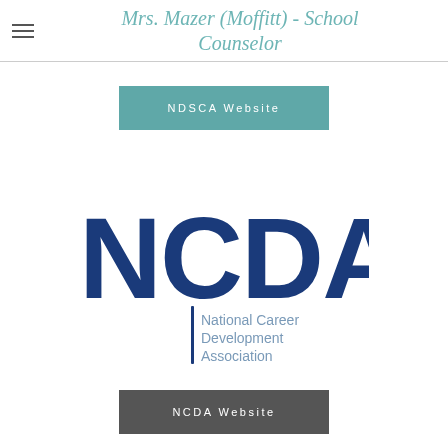Mrs. Mazer (Moffitt) - School Counselor
NDSCA Website
[Figure (logo): NCDA National Career Development Association logo with large blue letters NCDA and a vertical blue bar to the left of the text 'National Career Development Association']
NCDA Website